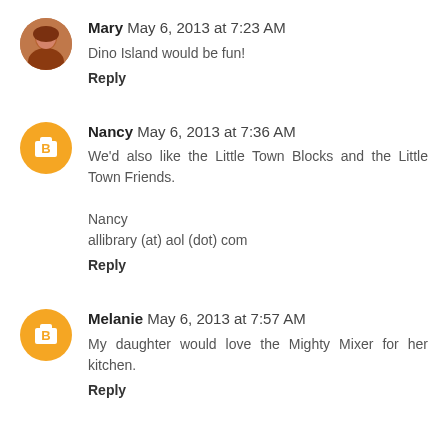Mary  May 6, 2013 at 7:23 AM
Dino Island would be fun!
Reply
Nancy  May 6, 2013 at 7:36 AM
We'd also like the Little Town Blocks and the Little Town Friends.
Nancy
allibrary (at) aol (dot) com
Reply
Melanie  May 6, 2013 at 7:57 AM
My daughter would love the Mighty Mixer for her kitchen.
Reply